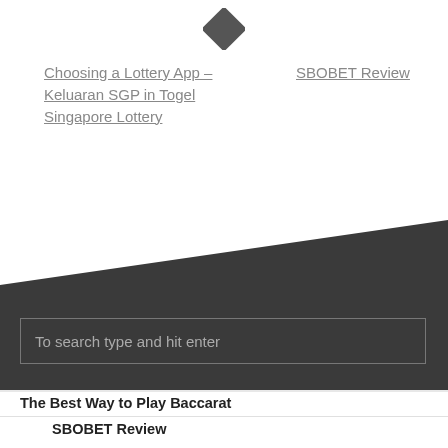[Figure (illustration): A dark filled diamond/rhombus shape used as a decorative icon or logo element at the top center of the page.]
Choosing a Lottery App – Keluaran SGP in Togel Singapore Lottery
SBOBET Review
[Figure (illustration): Dark grey diagonal triangular background shape spanning the lower-middle portion of the page.]
To search type and hit enter
The Best Way to Play Baccarat
SBOBET Review